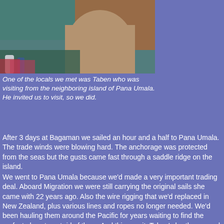[Figure (photo): Photo of a local person, upper body visible, with items in background including what appears to be bottles and bags. Blue/teal and brown tones.]
One of the locals we met was Taben who was visiting from the neighboring island of Pana Umala. He invited us to visit, so we did.
After 3 days at Bagaman we sailed an hour and a half to Pana Umala. The trade winds were blowing hard. The anchorage was protected from the seas but the gusts came fast through a saddle ridge on the island.
We went to Pana Umala because we'd made a very important trading deal. Aboard Migration we were still carrying the original sails she came with 22 years ago. Also the wire rigging that we'd replaced in New Zealand, plus various lines and ropes no longer needed. We'd been hauling them around the Pacific for years waiting to find the perfect place to get rid of them. And this was it. Taben's brother owned one of the bigger sailing canoes. Sail cloth, wire, and line are all incredibly useful here… and practically